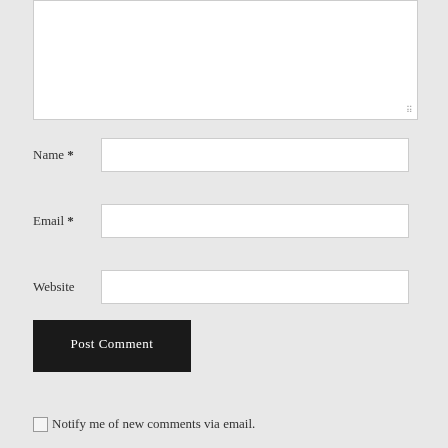[Figure (screenshot): A comment form textarea (large white text input area) at the top of the page, partially visible, with a resize handle in the bottom-right corner.]
Name *
Email *
Website
Post Comment
Notify me of new comments via email.